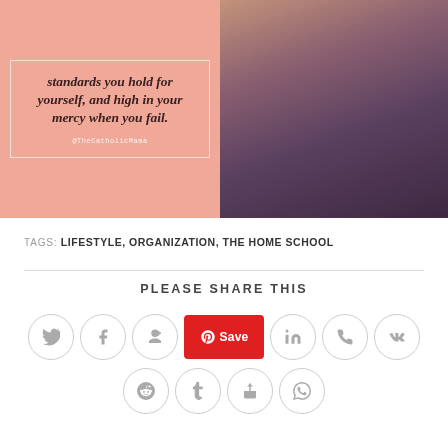[Figure (illustration): Split image: left side is a salmon/pink colored quote card with italic bold text reading 'standards you hold for yourself, and high in your mercy when you fail.' with attribution '@TheCatholicMama'; right side shows a photo of a woman with long brown hair from behind, wearing a gray sweater]
TAGS: LIFESTYLE, ORGANIZATION, THE HOME SCHOOL
PLEASE SHARE THIS